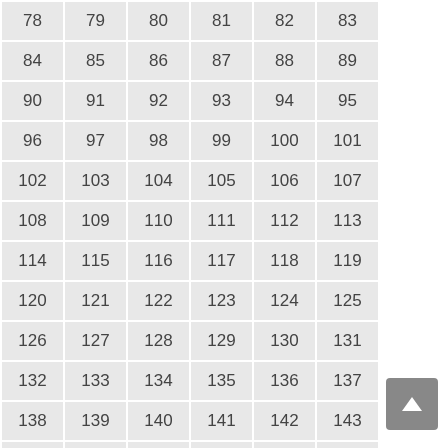| 78 | 79 | 80 | 81 | 82 | 83 |
| 84 | 85 | 86 | 87 | 88 | 89 |
| 90 | 91 | 92 | 93 | 94 | 95 |
| 96 | 97 | 98 | 99 | 100 | 101 |
| 102 | 103 | 104 | 105 | 106 | 107 |
| 108 | 109 | 110 | 111 | 112 | 113 |
| 114 | 115 | 116 | 117 | 118 | 119 |
| 120 | 121 | 122 | 123 | 124 | 125 |
| 126 | 127 | 128 | 129 | 130 | 131 |
| 132 | 133 | 134 | 135 | 136 | 137 |
| 138 | 139 | 140 | 141 | 142 | 143 |
| 144 | 145 | 146 | 147 | 148 | 149 |